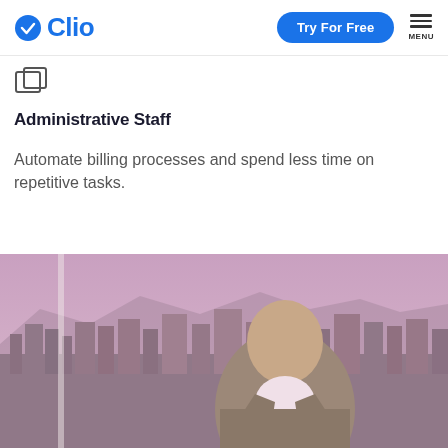Clio — Try For Free | MENU
[Figure (logo): Small icon resembling two overlapping document shapes]
Administrative Staff
Automate billing processes and spend less time on repetitive tasks.
[Figure (photo): Professional headshot of a middle-aged man in a blazer and pink shirt, standing in front of a cityscape artwork or window showing an aerial view of a city with mountains in the background under a purple-pink sky.]